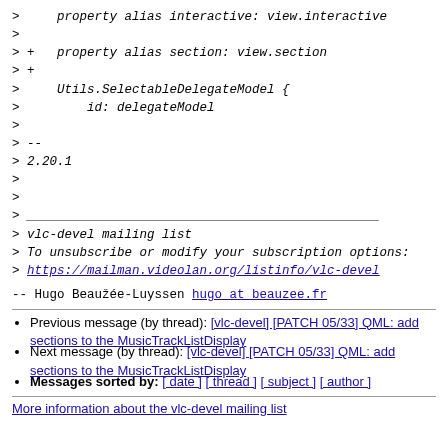>     property alias interactive: view.interactive
>
> +   property alias section: view.section
> +
>     Utils.SelectableDelegateModel {
>         id: delegateModel
>
> --
> 2.20.1
>
>
> _______________________________________________
> vlc-devel mailing list
> To unsubscribe or modify your subscription options:
> https://mailman.videolan.org/listinfo/vlc-devel
--
   Hugo Beauzée-Luyssen
   hugo at beauzee.fr
Previous message (by thread): [vlc-devel] [PATCH 05/33] QML: add sections to the MusicTrackListDisplay
Next message (by thread): [vlc-devel] [PATCH 05/33] QML: add sections to the MusicTrackListDisplay
Messages sorted by: [ date ] [ thread ] [ subject ] [ author ]
More information about the vlc-devel mailing list